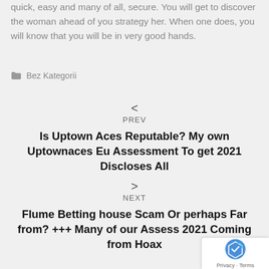quick, easy and many of all, secure. You will get to discover the woman ahead of you strategy her. When one does, you will know that you will be in very good hands.
Bez Kategorii
< PREV
Is Uptown Aces Reputable? My own Uptownaces Eu Assessment To get 2021 Discloses All
> NEXT
Flume Betting house Scam Or perhaps Far from? +++ Many of our Assess 2021 Coming from Hoax
[Figure (logo): reCAPTCHA badge with Privacy and Terms text]